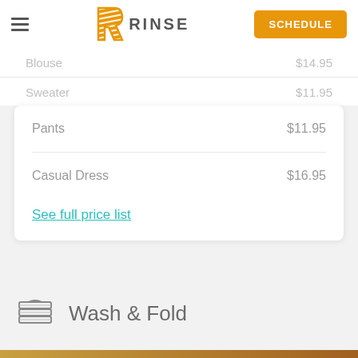RINSE — navigation header with hamburger menu, logo, and SCHEDULE button
Blouse  (price cut off)
Sweater  (price cut off)
| Item | Price |
| --- | --- |
| Pants | $11.95 |
| Casual Dress | $16.95 |
See full price list
Wash & Fold